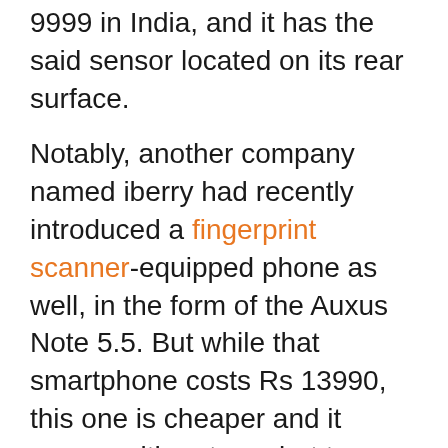This device has been launched at Rs 9999 in India, and it has the said sensor located on its rear surface.
Notably, another company named iberry had recently introduced a fingerprint scanner-equipped phone as well, in the form of the Auxus Note 5.5. But while that smartphone costs Rs 13990, this one is cheaper and it comes with not one but two batteries.